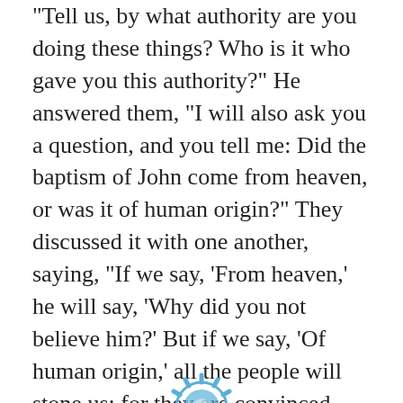“Tell us, by what authority are you doing these things? Who is it who gave you this authority?” He answered them, “I will also ask you a question, and you tell me: Did the baptism of John come from heaven, or was it of human origin?” They discussed it with one another, saying, “If we say, ‘From heaven,’ he will say, ‘Why did you not believe him?’ But if we say, ‘Of human origin,’ all the people will stone us; for they are convinced that John was a prophet.” So they answered that they did not know where it came from. Then Jesus said to them, “Neither will I tell you by what authority I am doing these things.”
. . .
[Figure (logo): A blue decorative logo/icon partially visible at the bottom center of the page]